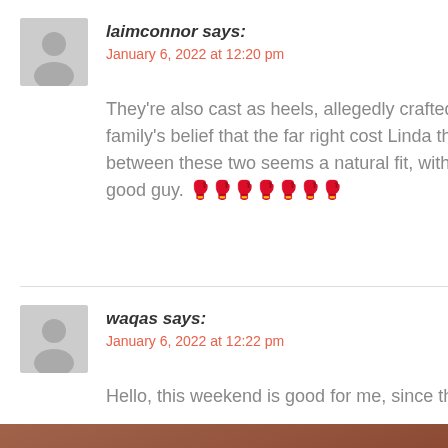laimconnor says:
January 6, 2022 at 12:20 pm
They're also cast as heels, allegedly crafted due to the McMahon family's belief that the far right cost Linda the election. A tag feud between these two seems a natural fit, with Darren Young cast as the good guy. 🥊🥊🥊🥊🥊🥊🥊
Reply
waqas says:
January 6, 2022 at 12:22 pm
Hello, this weekend is good for me, since this